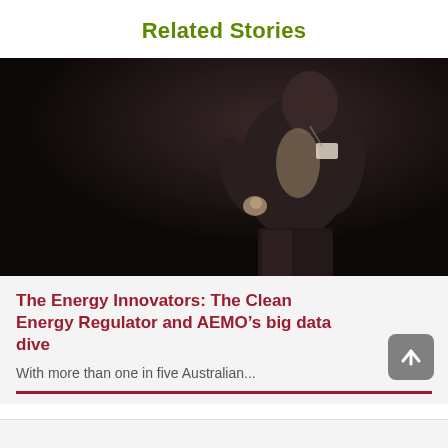Related Stories
[Figure (photo): A man in a dark suit speaking or presenting on a darkened stage, wearing a name badge, photographed from below waist to head level against a very dark background.]
The Energy Innovators: The Clean Energy Regulator and AEMO’s big data dive
With more than one in five Australian...